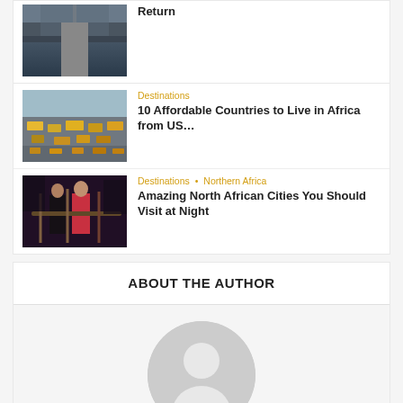[Figure (photo): Partial view of first article thumbnail - road or railway scene]
Return
[Figure (photo): Aerial view of busy African city traffic with yellow taxis]
Destinations
10 Affordable Countries to Live in Africa from US...
[Figure (photo): Man and woman in nightlife setting, North African city]
Destinations • Northern Africa
Amazing North African Cities You Should Visit at Night
ABOUT THE AUTHOR
[Figure (illustration): Generic user avatar placeholder circle with silhouette]
See Africa Today